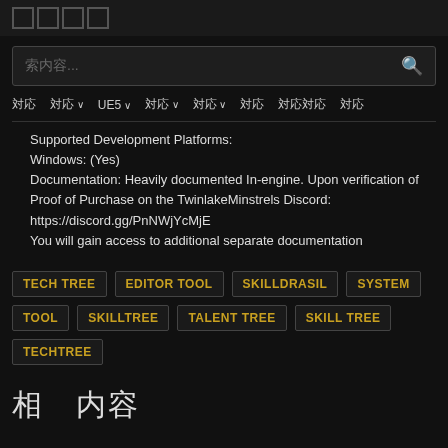□□□□
索内容...
対応 対応v UE5v 対応v 対応v 対応 対応対応 対応
Supported Development Platforms:
Windows: (Yes)
Documentation: Heavily documented In-engine. Upon verification of Proof of Purchase on the TwinlakeMinstrels Discord:
https://discord.gg/PnNWjYcMjE
You will gain access to additional separate documentation
TECH TREE
EDITOR TOOL
SKILLDRASIL
SYSTEM
TOOL
SKILLTREE
TALENT TREE
SKILL TREE
TECHTREE
相　内容